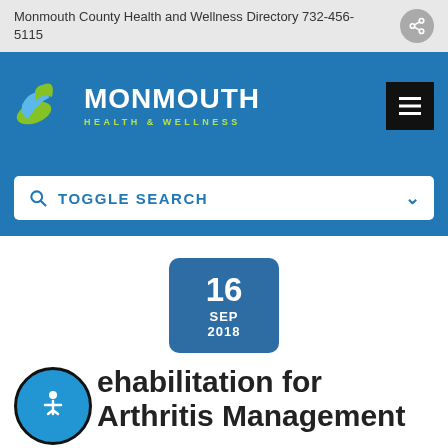Monmouth County Health and Wellness Directory 732-456-5115
[Figure (logo): Monmouth Health & Wellness logo with green and blue leaf/heart icon, white text MONMOUTH and green subtitle HEALTH & WELLNESS on blue background]
TOGGLE SEARCH
16 SEP 2018
Rehabilitation for Arthritis Management